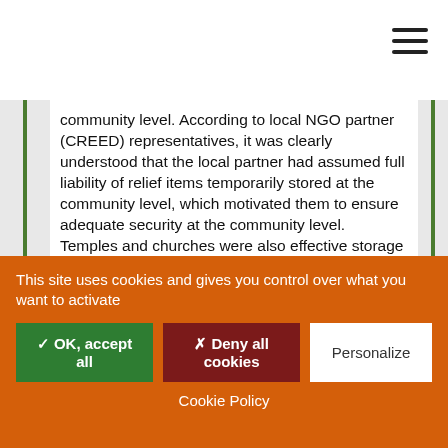community level. According to local NGO partner (CREED) representatives, it was clearly understood that the local partner had assumed full liability of relief items temporarily stored at the community level, which motivated them to ensure adequate security at the community level. Temples and churches were also effective storage sites, as local beliefs (taboos) prevented criminals from stealing from them (CARE India).
Airlift/transport services: Use a combination of both free airlift services and commercial air transport services. This allows more influence and control of scheduling consignments, and can reduce pipeline gaps when free transport options can't meet demand.
This site uses cookies and gives you control over what you want to activate